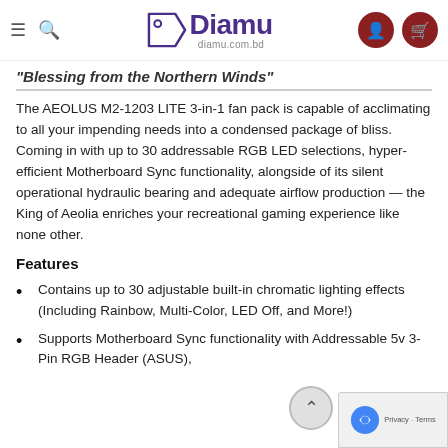Diamu — diamu.com.bd navigation bar
“Blessing from the Northern Winds”
The AEOLUS M2-1203 LITE 3-in-1 fan pack is capable of acclimating to all your impending needs into a condensed package of bliss. Coming in with up to 30 addressable RGB LED selections, hyper-efficient Motherboard Sync functionality, alongside of its silent operational hydraulic bearing and adequate airflow production — the King of Aeolia enriches your recreational gaming experience like none other.
Features
Contains up to 30 adjustable built-in chromatic lighting effects (Including Rainbow, Multi-Color, LED Off, and More!)
Supports Motherboard Sync functionality with Addressable 5v 3-Pin RGB Header (ASUS),